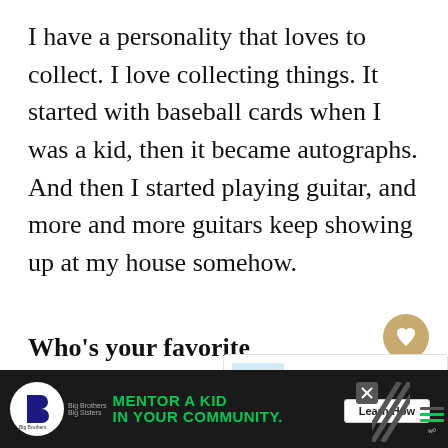I have a personality that loves to collect. I love collecting things. It started with baseball cards when I was a kid, then it became autographs. And then I started playing guitar, and more and more guitars keep showing up at my house somehow.
Who's your favorite guitarist?
[Figure (infographic): Heart/like button (tan circle with heart icon) and share button (light gray circle with share icon)]
[Figure (infographic): What's Next promotional box with water bottles image, label 'WHAT'S NEXT ->', and text 'Baxter of California x...']
[Figure (infographic): Advertisement banner: Big Brothers Big Sisters logo, green text 'MENTOR A KID IN YOUR COMMUNITY.', Learn How button, close X button, diagonal stripe pattern, and sound/menu icons]